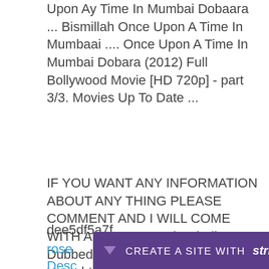Upon Ay Time In Mumbai Dobaara ... Bismillah Once Upon A Time In Mumbaai .... Once Upon A Time In Mumbai Dobara (2012) Full Bollywood Movie [HD 720p] - part 3/3. Movies Up To Date ...
IF YOU WANT ANY INFORMATION ABOUT ANY THING PLEASE COMMENT AND I WILL COME WITH A NEW .... Movie Hindi Dubbed Download 720p Movie >>>> http://tinurll.com/1dyisn once upon a time in mumbaai dobara full hindi movie in hd.. Watch full length India...
dee5df5a7f
rose
Desc
[Figure (other): Strikingly website creation banner bar with purple background, dropdown arrow, and text 'CREATE A SITE WITH strikingly']